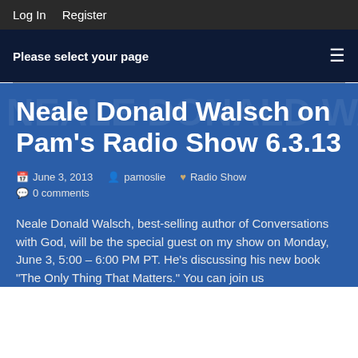Log In  Register
Please select your page
Neale Donald Walsch on Pam's Radio Show 6.3.13
June 3, 2013   pamoslie   Radio Show   0 comments
Neale Donald Walsch, best-selling author of Conversations with God, will be the special guest on my show on Monday, June 3, 5:00 – 6:00 PM PT. He's discussing his new book "The Only Thing That Matters." You can join us